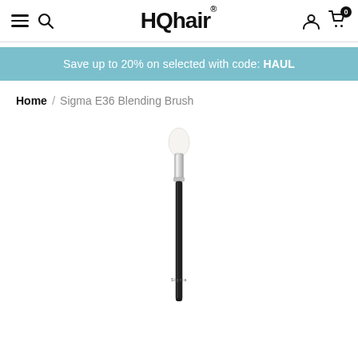HQhair® — navigation bar with hamburger menu, search icon, logo, user icon, cart (0)
Save up to 20% on selected with code: HAUL
Home / Sigma E36 Blending Brush
[Figure (photo): Product photo of a Sigma E36 Blending Brush — a makeup brush with a small rounded white bristle tip, chrome ferrule, and a black handle with the Sigma logo at the bottom.]